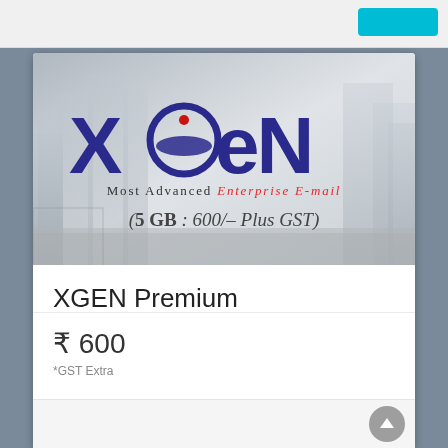[Figure (logo): XGEN Plus logo banner with city buildings background. Shows 'XGEN PLUS' in large purple letters with 'Most Advanced Enterprise E-mail' tagline and '(5 GB : 600/- Plus GST)' pricing.]
XGEN Premium
Keep all your emails and files at one place & access... Read More
₹ 600
*GST Extra